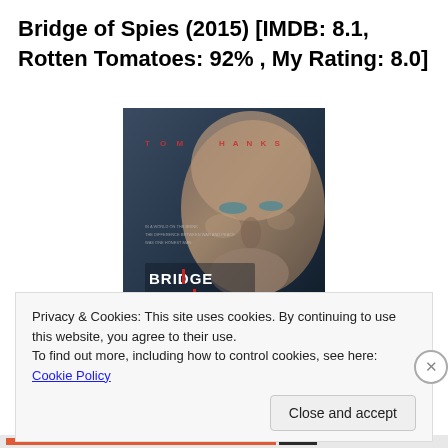Bridge of Spies (2015) [IMDB: 8.1, Rotten Tomatoes: 92% , My Rating: 8.0]
[Figure (photo): Movie poster for Bridge of Spies featuring Tom Hanks, with the film title in stylized text and 'INSPIRED BY TRUE EVENTS' tagline]
Privacy & Cookies: This site uses cookies. By continuing to use this website, you agree to their use.
To find out more, including how to control cookies, see here: Cookie Policy